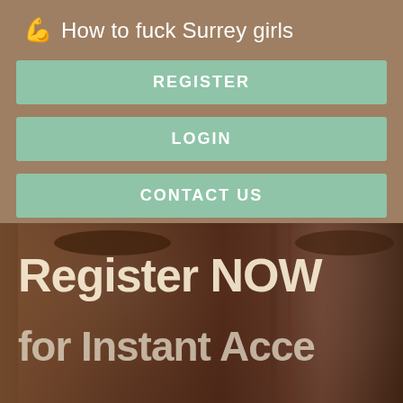💪 How to fuck Surrey girls
REGISTER
LOGIN
CONTACT US
[Figure (photo): Photo of two people with overlaid text reading 'Register NOW for Instant Acce[ss]']